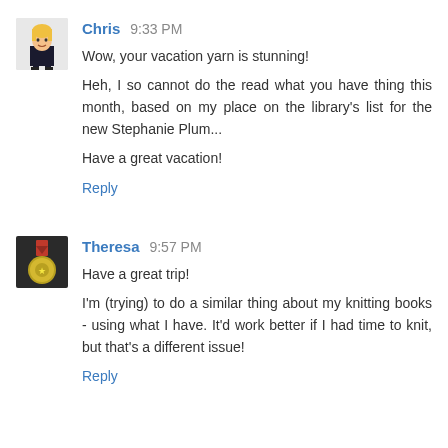Chris 9:33 PM
Wow, your vacation yarn is stunning!
Heh, I so cannot do the read what you have thing this month, based on my place on the library's list for the new Stephanie Plum...
Have a great vacation!
Reply
Theresa 9:57 PM
Have a great trip!
I'm (trying) to do a similar thing about my knitting books - using what I have. It'd work better if I had time to knit, but that's a different issue!
Reply